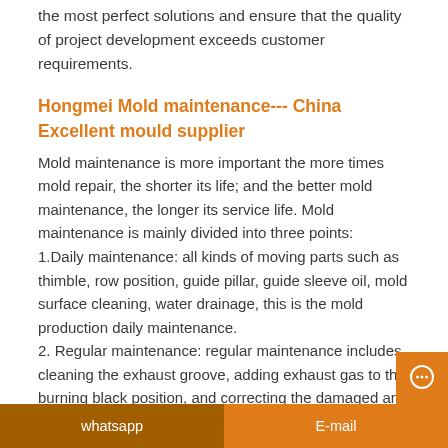the most perfect solutions and ensure that the quality of project development exceeds customer requirements.
Hongmei Mold maintenance--- China Excellent mould supplier
Mold maintenance is more important the more times mold repair, the shorter its life; and the better mold maintenance, the longer its service life. Mold maintenance is mainly divided into three points:
1.Daily maintenance: all kinds of moving parts such as thimble, row position, guide pillar, guide sleeve oil, mold surface cleaning, water drainage, this is the mold production daily maintenance.
2. Regular maintenance: regular maintenance includes cleaning the exhaust groove, adding exhaust gas to the burning black position, and correcting the damaged and worn parts.
whatsapp    E-mail